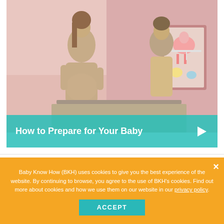[Figure (photo): A pregnant woman and a man leaning over a baby crib/changing table in a pink nursery room, smiling and looking at baby items.]
How to Prepare for Your Baby
Baby Know How (BKH) uses cookies to give you the best experience of the website. By continuing to browse, you agree to the use of BKH's cookies. Find out more about cookies and how we use them on our website in our privacy policy.
ACCEPT